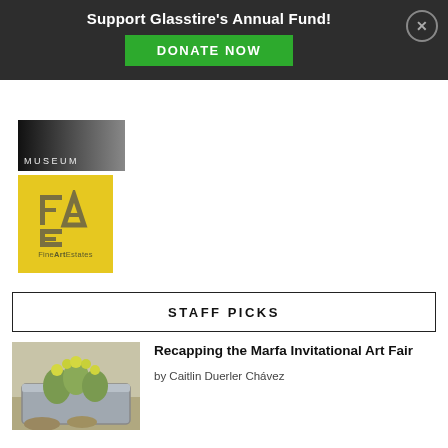Support Glasstire's Annual Fund! DONATE NOW
[Figure (logo): Museum logo with dark gradient background and 'MUSEUM' text in light gray letters]
[Figure (logo): Fine Art Estates logo: yellow background with geometric FAE monogram in brown/gray, text 'FineArtEstates' below]
STAFF PICKS
[Figure (photo): Photo of prickly pear cactus with yellow-green buds in a galvanized metal tub, desert setting]
Recapping the Marfa Invitational Art Fair
by Caitlin Duerler Chávez
[Figure (photo): Partial thumbnail of second article image (cut off at bottom)]
Landing Pad and Marine Farm and